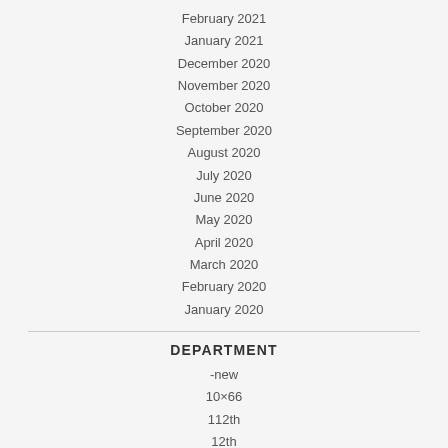February 2021
January 2021
December 2020
November 2020
October 2020
September 2020
August 2020
July 2020
June 2020
May 2020
April 2020
March 2020
February 2020
January 2020
DEPARTMENT
-new
10×66
112th
12th